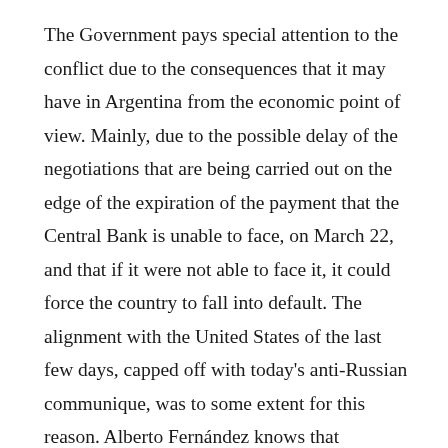The Government pays special attention to the conflict due to the consequences that it may have in Argentina from the economic point of view. Mainly, due to the possible delay of the negotiations that are being carried out on the edge of the expiration of the payment that the Central Bank is unable to face, on March 22, and that if it were not able to face it, it could force the country to fall into default. The alignment with the United States of the last few days, capped off with today's anti-Russian communique, was to some extent for this reason. Alberto Fernández knows that Washington has a decisive weight on the Fund's board and its decision-making power has a direct impact on the progress of the talks, which today are hampered by differences in the path to reduce the fiscal deficit. In fact, yesterday the government let it be known that it would not meet the goal it had set for itself, aimed at raising the debt bill in Congress on Friday. Instead, they now point to next